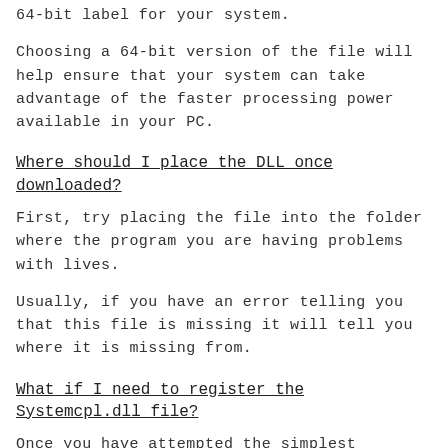64-bit label for your system.
Choosing a 64-bit version of the file will help ensure that your system can take advantage of the faster processing power available in your PC.
Where should I place the DLL once downloaded?
First, try placing the file into the folder where the program you are having problems with lives.
Usually, if you have an error telling you that this file is missing it will tell you where it is missing from.
What if I need to register the Systemcpl.dll file?
Once you have attempted the simplest solution of placing the DLL file into the target folder and found it